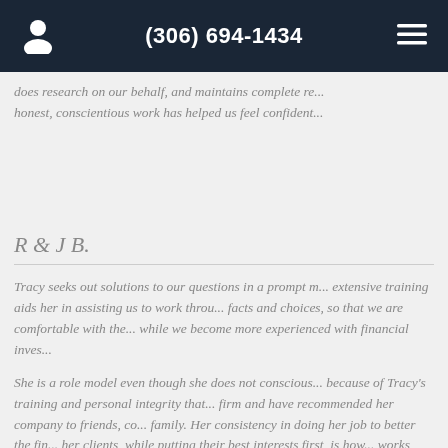(306) 694-1434
does research on our behalf, and maintains complete re... honest, conscientious work has helped us feel confident...
R & J B.
Tracy seeks out solutions to our questions in a prompt manner. Her extensive training aids her in assisting us to work through the facts and choices, so that we are comfortable with the decisions while we become more experienced with financial inves...
She is a role model even though she does not conscious... because of Tracy's training and personal integrity that... firm and have recommended her company to friends, co... family. Her consistency in doing her job to better the fin... her clients, while putting their best interests first, is how... works each day.